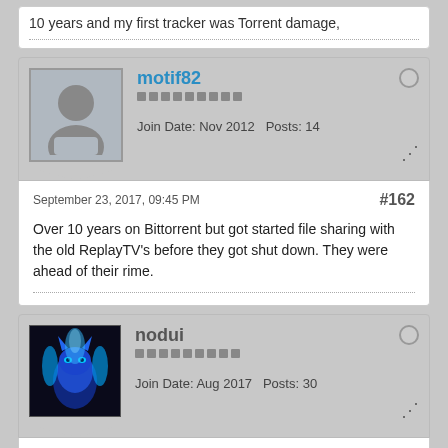10 years and my first tracker was Torrent damage,
motif82
Join Date: Nov 2012  Posts: 14
September 23, 2017, 09:45 PM  #162
Over 10 years on Bittorrent but got started file sharing with the old ReplayTV's before they got shut down. They were ahead of their rime.
nodui
Join Date: Aug 2017  Posts: 30
September 28, 2017, 02:50 PM  #163
2007